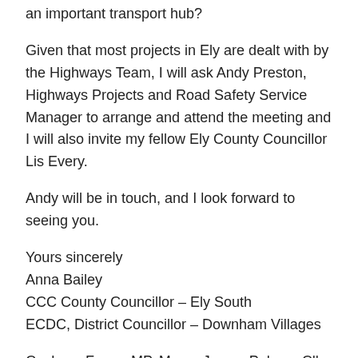an important transport hub?
Given that most projects in Ely are dealt with by the Highways Team, I will ask Andy Preston, Highways Projects and Road Safety Service Manager to arrange and attend the meeting and I will also invite my fellow Ely County Councillor Lis Every.
Andy will be in touch, and I look forward to seeing you.
Yours sincerely
Anna Bailey
CCC County Councillor – Ely South
ECDC, District Councillor – Downham Villages
Cc: Lucy Frazer MP, Mayor James Palmer, Cllr Mathew Shuter, Cllr Lis Every, Graham Hughes (CCC), Sally Bonnett (ECDC)